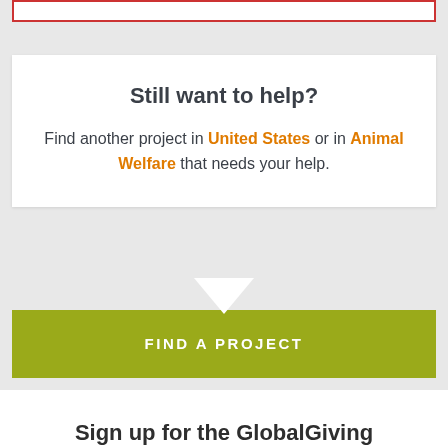Still want to help?
Find another project in United States or in Animal Welfare that needs your help.
FIND A PROJECT
Sign up for the GlobalGiving